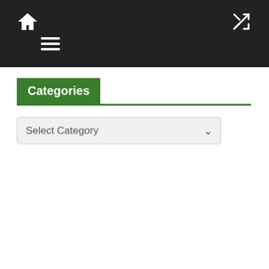Navigation bar with home icon, hamburger menu, and shuffle icon
Categories
Select Category
[Figure (photo): Football stadium banner with text 'Support Your Favorite Football Team On The Course!' and a SHOP NOW! button, with golf bags visible at bottom corners]